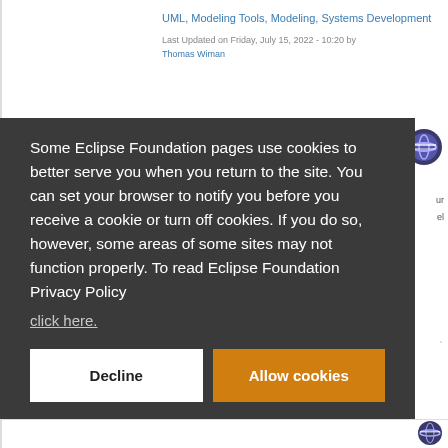UML, Modeling Tools, Modeling, Systems Development
Last Updated on Friday, July 15, 2022 - 10:20 by Thomas Wiman
[Figure (logo): Eclipse Foundation circular logo with horizontal lines]
Some Eclipse Foundation pages use cookies to better serve you when you return to the site. You can set your browser to notify you before you receive a cookie or turn off cookies. If you do so, however, some areas of some sites may not function properly. To read Eclipse Foundation Privacy Policy click here.
[Figure (screenshot): Decline button (white background, black text)]
[Figure (screenshot): Allow cookies button (orange background, white text)]